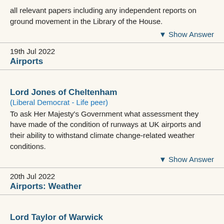all relevant papers including any independent reports on ground movement in the Library of the House.
▼ Show Answer
19th Jul 2022
Airports
Lord Jones of Cheltenham
(Liberal Democrat - Life peer)
To ask Her Majesty's Government what assessment they have made of the condition of runways at UK airports and their ability to withstand climate change-related weather conditions.
▼ Show Answer
20th Jul 2022
Airports: Weather
Lord Taylor of Warwick